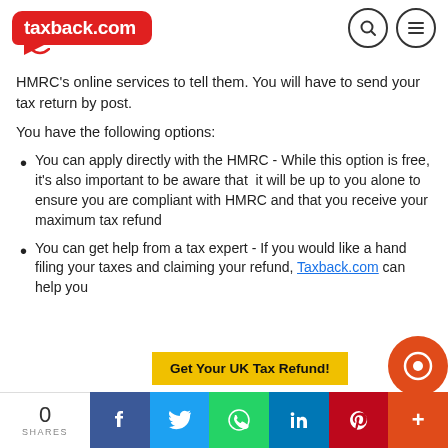[Figure (logo): taxback.com logo — white text on red speech-bubble shape]
HMRC's online services to tell them. You will have to send your tax return by post.
You have the following options:
You can apply directly with the HMRC - While this option is free, it's also important to be aware that  it will be up to you alone to ensure you are compliant with HMRC and that you receive your maximum tax refund
You can get help from a tax expert - If you would like a hand filing your taxes and claiming your refund, Taxback.com can help you
[Figure (other): Get Your UK Tax Refund! yellow CTA button with orange chat widget]
0 SHARES — social share bar: Facebook, Twitter, WhatsApp, LinkedIn, Pinterest, More